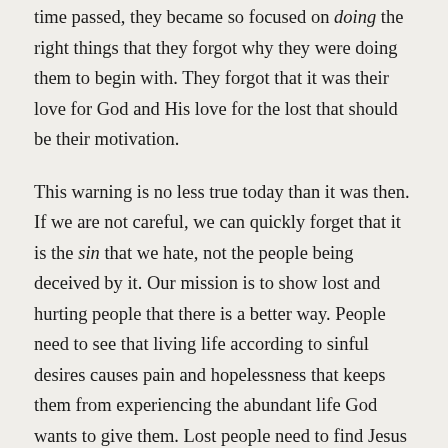time passed, they became so focused on doing the right things that they forgot why they were doing them to begin with. They forgot that it was their love for God and His love for the lost that should be their motivation.
This warning is no less true today than it was then. If we are not careful, we can quickly forget that it is the sin that we hate, not the people being deceived by it. Our mission is to show lost and hurting people that there is a better way. People need to see that living life according to sinful desires causes pain and hopelessness that keeps them from experiencing the abundant life God wants to give them. Lost people need to find Jesus before they can experience freedom from the sin that holds them captive. It is the love of Jesus that will beckon them to come!